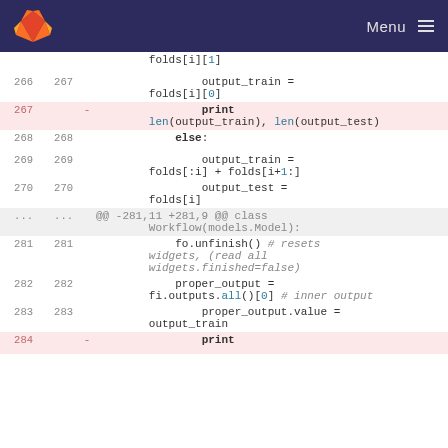GitLab Menu
[Figure (screenshot): Code diff view showing Python code lines 266-284 with line numbers, deleted lines highlighted in pink, and syntax highlighting.]